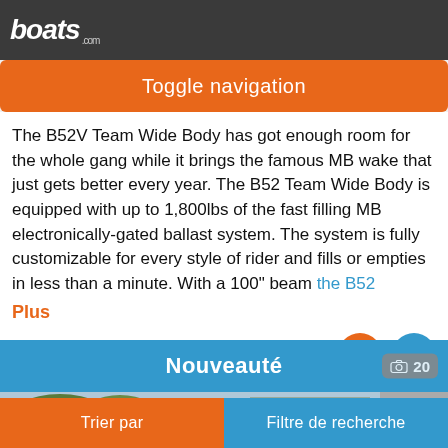boats.com
Toggle navigation
The B52V Team Wide Body has got enough room for the whole gang while it brings the famous MB wake that just gets better every year. The B52 Team Wide Body is equipped with up to 1,800lbs of the fast filling MB electronically-gated ballast system. The system is fully customizable for every style of rider and fills or empties in less than a minute. With a 100" beam the B52... Plus
Vendeur Seattle Water Sports
Nouveauté
[Figure (photo): Partial view of a boat listing photo showing trees and a trailer/boat in background]
Trier par    Filtre de recherche